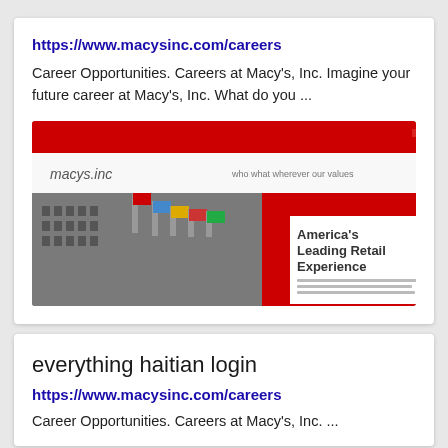https://www.macysinc.com/careers
Career Opportunities. Careers at Macy's, Inc. Imagine your future career at Macy's, Inc. What do you ...
[Figure (screenshot): Screenshot of macysinc.com careers page showing a building with flags and text 'America's Leading Retail Experience' on a red background]
everything haitian login
https://www.macysinc.com/careers
Career Opportunities. Careers at Macy's, Inc. ...